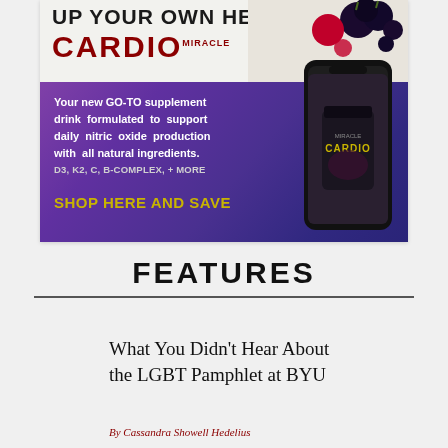[Figure (infographic): Advertisement for Cardio Miracle supplement drink. Top white section shows bold uppercase text 'UP YOUR OWN HEALTH.' with 'CARDIO MIRACLE' brand name in dark red, and berries in top right. Bottom purple-gradient section shows product description text 'Your new GO-TO supplement drink formulated to support daily nitric oxide production with all natural ingredients.', 'D3, K2, C, B-COMPLEX, + MORE', and yellow CTA 'SHOP HERE AND SAVE'. A phone showing the product jar is on the right.]
FEATURES
What You Didn't Hear About the LGBT Pamphlet at BYU
By Cassandra Showell Hedelius